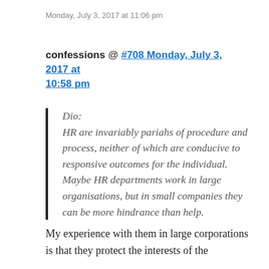Monday, July 3, 2017 at 11:06 pm
confessions @ #708 Monday, July 3, 2017 at 10:58 pm
Dio:
HR are invariably pariahs of procedure and process, neither of which are conducive to responsive outcomes for the individual. Maybe HR departments work in large organisations, but in small companies they can be more hindrance than help.
My experience with them in large corporations is that they protect the interests of the